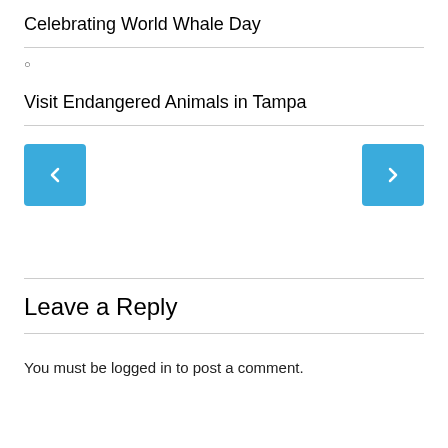Celebrating World Whale Day
Visit Endangered Animals in Tampa
[Figure (other): Navigation buttons: left chevron button and right chevron button in blue]
Leave a Reply
You must be logged in to post a comment.